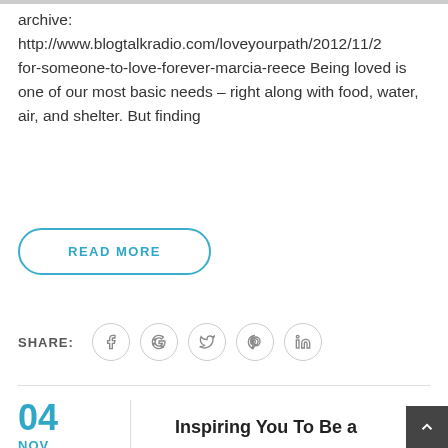archive: http://www.blogtalkradio.com/loveyourpath/2012/11/2 for-someone-to-love-forever-marcia-reece Being loved is one of our most basic needs – right along with food, water, air, and shelter. But finding
READ MORE
SHARE:
04
NOV
Inspiring You To Be a